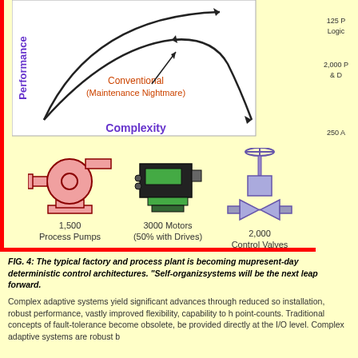[Figure (continuous-plot): Performance vs Complexity chart showing two curves: one rising arc (unlabeled, higher performance) and one labeled 'Conventional (Maintenance Nightmare)' in orange-red that peaks and declines. Y-axis labeled 'Performance' in purple, X-axis labeled 'Complexity' in purple. Arrows indicate directions on both curves.]
[Figure (illustration): Pink centrifugal process pump icon with label '1,500 Process Pumps']
[Figure (illustration): Black and green motor/drive unit icon with label '3000 Motors (50% with Drives)']
[Figure (illustration): Purple/gray control valve icon with label '2,000 Control Valves']
FIG. 4: The typical factory and process plant is becoming much more complex than can be handled by present-day deterministic control architectures. "Self-organizing" or complex adaptive systems will be the next leap forward.
Complex adaptive systems yield significant advances through reduced so installation, robust performance, vastly improved flexibility, capability to h point-counts. Traditional concepts of fault-tolerance become obsolete, be provided directly at the I/O level. Complex adaptive systems are robust b